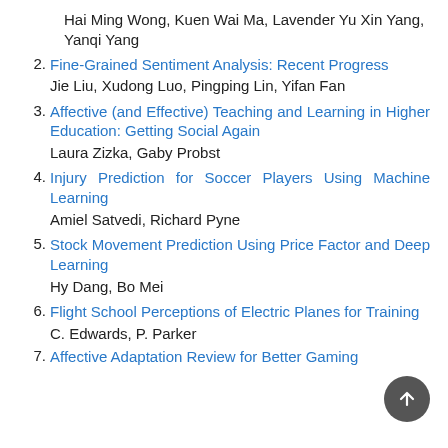Hai Ming Wong, Kuen Wai Ma, Lavender Yu Xin Yang, Yanqi Yang
2. Fine-Grained Sentiment Analysis: Recent Progress
Jie Liu, Xudong Luo, Pingping Lin, Yifan Fan
3. Affective (and Effective) Teaching and Learning in Higher Education: Getting Social Again
Laura Zizka, Gaby Probst
4. Injury Prediction for Soccer Players Using Machine Learning
Amiel Satvedi, Richard Pyne
5. Stock Movement Prediction Using Price Factor and Deep Learning
Hy Dang, Bo Mei
6. Flight School Perceptions of Electric Planes for Training
C. Edwards, P. Parker
7. Affective Adaptation Review for Better Gaming...